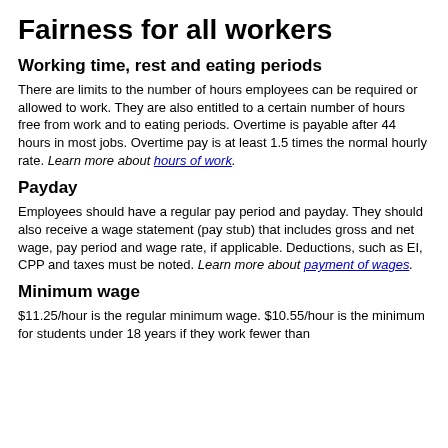Fairness for all workers
Working time, rest and eating periods
There are limits to the number of hours employees can be required or allowed to work. They are also entitled to a certain number of hours free from work and to eating periods. Overtime is payable after 44 hours in most jobs. Overtime pay is at least 1.5 times the normal hourly rate. Learn more about hours of work.
Payday
Employees should have a regular pay period and payday. They should also receive a wage statement (pay stub) that includes gross and net wage, pay period and wage rate, if applicable. Deductions, such as EI, CPP and taxes must be noted. Learn more about payment of wages.
Minimum wage
$11.25/hour is the regular minimum wage. $10.55/hour is the minimum for students under 18 years if they work fewer than